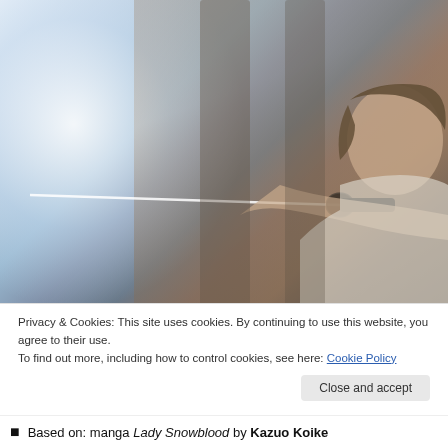[Figure (photo): A young Asian woman with short brown hair holding a katana sword extended outward, wearing a white top, against a moody blue-grey and warm brown background with dramatic lighting from the left.]
Privacy & Cookies: This site uses cookies. By continuing to use this website, you agree to their use.
To find out more, including how to control cookies, see here: Cookie Policy
Close and accept
Based on: manga Lady Snowblood by Kazuo Koike